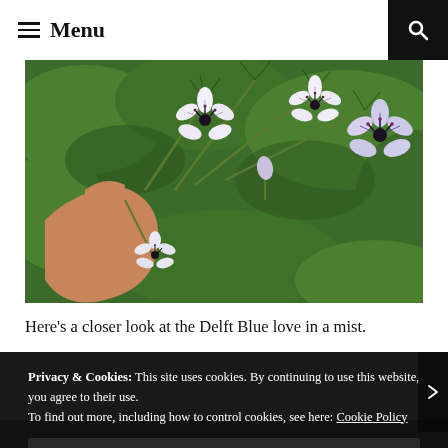≡ Menu
[Figure (photo): Close-up photograph of Delft Blue love-in-a-mist (Nigella) flowers being held by a hand, showing white petals with purple/blue markings and dark spiky centers against a green leafy background.]
Here's a closer look at the Delft Blue love in a mist.
Privacy & Cookies: This site uses cookies. By continuing to use this website, you agree to their use.
To find out more, including how to control cookies, see here: Cookie Policy
Close and accept